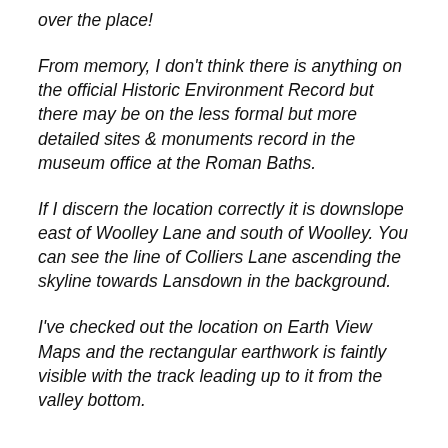over the place!
From memory, I don't think there is anything on the official Historic Environment Record but there may be on the less formal but more detailed sites & monuments record in the museum office at the Roman Baths.
If I discern the location correctly it is downslope east of Woolley Lane and south of Woolley. You can see the line of Colliers Lane ascending the skyline towards Lansdown in the background.
I've checked out the location on Earth View Maps and the rectangular earthwork is faintly visible with the track leading up to it from the valley bottom.